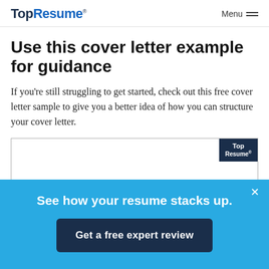TopResume® Menu
Use this cover letter example for guidance
If you're still struggling to get started, check out this free cover letter sample to give you a better idea of how you can structure your cover letter.
[Figure (screenshot): Preview thumbnail of a cover letter sample with TopResume logo badge in top-right corner and text KRIS R. BLACKBURN at the bottom]
See how your resume stacks up.
Get a free expert review